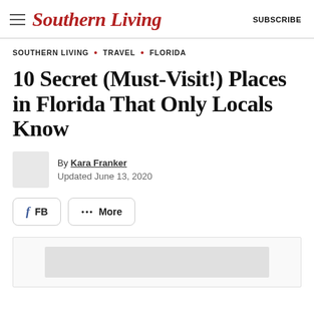Southern Living  SUBSCRIBE
SOUTHERN LIVING • TRAVEL • FLORIDA
10 Secret (Must-Visit!) Places in Florida That Only Locals Know
By Kara Franker
Updated June 13, 2020
[Figure (other): Social share buttons: FB (Facebook) and More (ellipsis)]
[Figure (photo): Placeholder image area at bottom of article header]